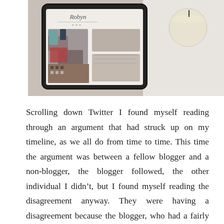[Figure (photo): Overhead photo of a tablet/phone displaying a blog website with beauty/lifestyle product images, alongside a white candle, on a fluffy white background.]
Scrolling down Twitter I found myself reading through an argument that had struck up on my timeline, as we all do from time to time. This time the argument was between a fellow blogger and a non-blogger, the blogger followed, the other individual I didn't, but I found myself reading the disagreement anyway. They were having a disagreement because the blogger, who had a fairly small sized following of under 1000 people had writing a blog post giving people advice on how to start